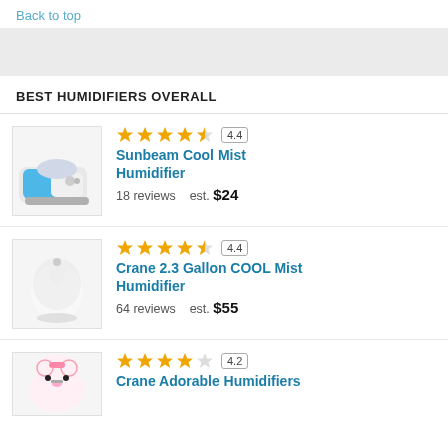Back to top
BEST HUMIDIFIERS OVERALL
[Figure (photo): Sunbeam Cool Mist Humidifier product image]
4.4 Sunbeam Cool Mist Humidifier 18 reviews est. $24
[Figure (photo): Crane 2.3 Gallon COOL Mist Humidifier product image]
4.4 Crane 2.3 Gallon COOL Mist Humidifier 64 reviews est. $55
[Figure (photo): Crane Adorable Humidifiers product image]
4.2 Crane Adorable Humidifiers